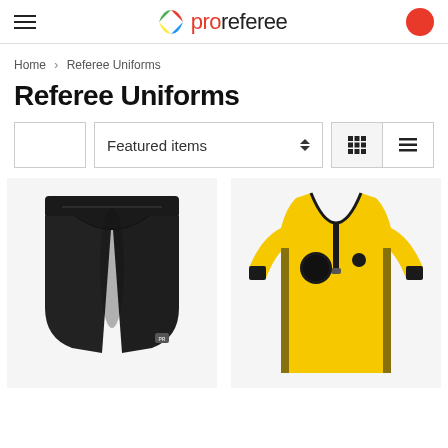proreferee — navigation header with hamburger menu, logo, and cart button
Home > Referee Uniforms
Referee Uniforms
Featured items sort dropdown with grid and list view toggles
[Figure (photo): Black referee shorts product photo]
[Figure (photo): Yellow referee long-sleeve jersey product photo]